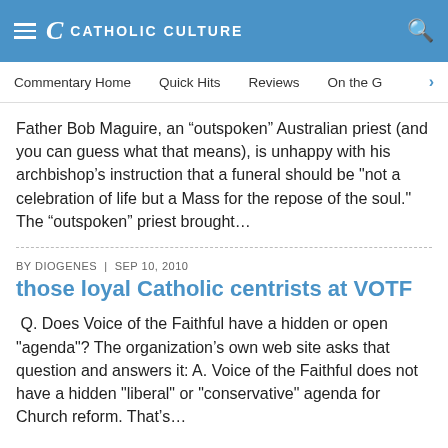CATHOLIC CULTURE
Commentary Home   Quick Hits   Reviews   On the (
Father Bob Maguire, an “outspoken” Australian priest (and you can guess what that means), is unhappy with his archbishop’s instruction that a funeral should be "not a celebration of life but a Mass for the repose of the soul." The “outspoken” priest brought…
BY DIOGENES | SEP 10, 2010
those loyal Catholic centrists at VOTF
Q. Does Voice of the Faithful have a hidden or open "agenda"? The organization’s own web site asks that question and answers it: A. Voice of the Faithful does not have a hidden "liberal" or "conservative" agenda for Church reform. That’s…